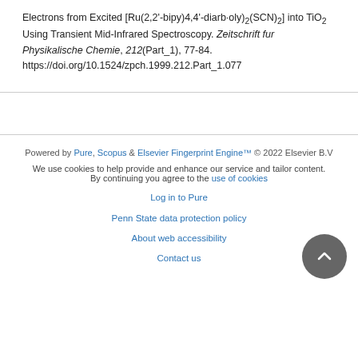Electrons from Excited [Ru(2,2'-bipy)4,4'-dicarb·oly)2(SCN)2] into TiO2 Using Transient Mid-Infrared Spectroscopy. Zeitschrift fur Physikalische Chemie, 212(Part_1), 77-84. https://doi.org/10.1524/zpch.1999.212.Part_1.077
Powered by Pure, Scopus & Elsevier Fingerprint Engine™ © 2022 Elsevier B.V
We use cookies to help provide and enhance our service and tailor content. By continuing you agree to the use of cookies
Log in to Pure
Penn State data protection policy
About web accessibility
Contact us